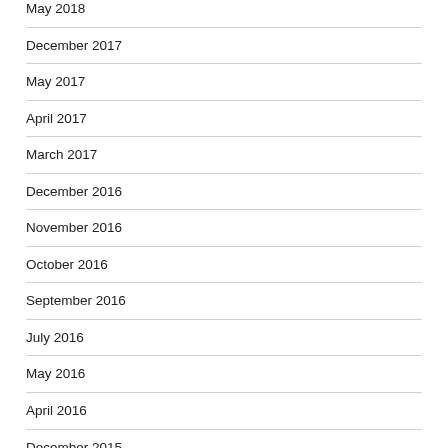May 2018
December 2017
May 2017
April 2017
March 2017
December 2016
November 2016
October 2016
September 2016
July 2016
May 2016
April 2016
December 2015
September 2015